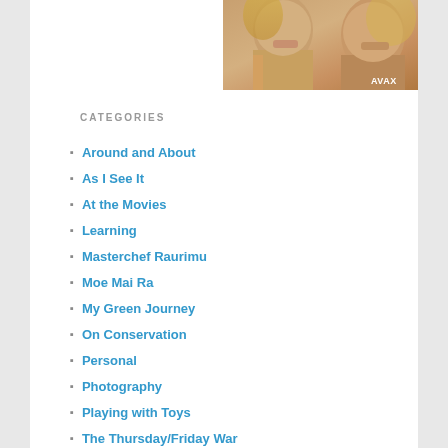[Figure (photo): Cropped photo of two people, with AVAX watermark in bottom right corner]
CATEGORIES
Around and About
As I See It
At the Movies
Learning
Masterchef Raurimu
Moe Mai Ra
My Green Journey
On Conservation
Personal
Photography
Playing with Toys
The Thursday/Friday War
To do with writing
Uncategorized